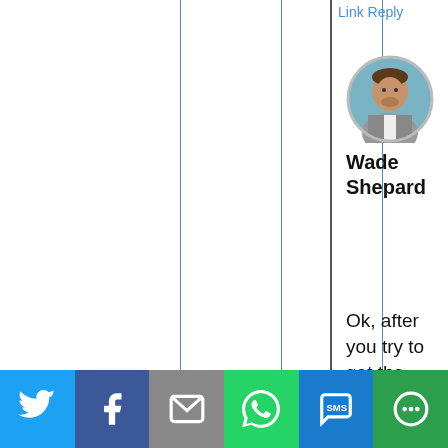Link Reply
[Figure (photo): Circular avatar photo of Wade Shepard, a man in a grey suit]
Wade Shepard
Ok, after you try to get the
[Figure (infographic): Social share bar with Twitter, Facebook, Email, WhatsApp, SMS, and More buttons]